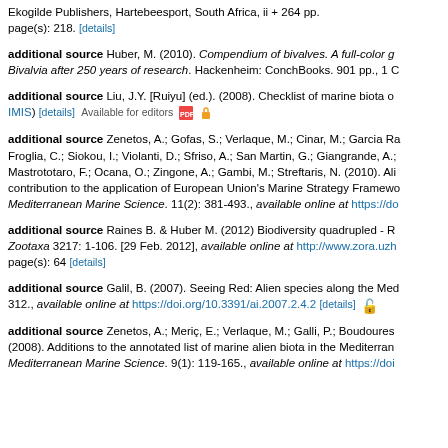additional source [truncated at top] Ekogilde Publishers, Hartebeesport, South Africa, ii + 264 pp. page(s): 218. [details]
additional source Huber, M. (2010). Compendium of bivalves. A full-color g... Bivalvia after 250 years of research. Hackenheim: ConchBooks. 901 pp., 1 C...
additional source Liu, J.Y. [Ruiyu] (ed.). (2008). Checklist of marine biota o... IMIS) [details] Available for editors
additional source Zenetos, A.; Gofas, S.; Verlaque, M.; Cinar, M.; Garcia R... Froglia, C.; Siokou, I.; Violanti, D.; Sfriso, A.; San Martin, G.; Giangrande, A.; Mastrototaro, F.; Ocana, O.; Zingone, A.; Gambi, M.; Streftaris, N. (2010). Ali... contribution to the application of European Union's Marine Strategy Framew... Mediterranean Marine Science. 11(2): 381-493., available online at https://do...
additional source Raines B. & Huber M. (2012) Biodiversity quadrupled - R... Zootaxa 3217: 1-106. [29 Feb. 2012], available online at http://www.zora.uzh... page(s): 64 [details]
additional source Galil, B. (2007). Seeing Red: Alien species along the Me... 312., available online at https://doi.org/10.3391/ai.2007.2.4.2 [details]
additional source Zenetos, A.; Meriç, E.; Verlaque, M.; Galli, P.; Boudoures... (2008). Additions to the annotated list of marine alien biota in the Mediterran... Mediterranean Marine Science. 9(1): 119-165., available online at https://doi...